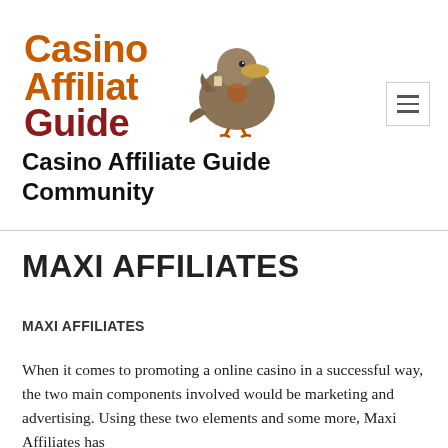[Figure (logo): Casino Affiliate Guide logo with text and cartoon platypus/bird mascot holding a drink]
Casino Affiliate Guide Community
MAXI AFFILIATES
MAXI AFFILIATES
When it comes to promoting a online casino in a successful way, the two main components involved would be marketing and advertising. Using these two elements and some more, Maxi Affiliates has